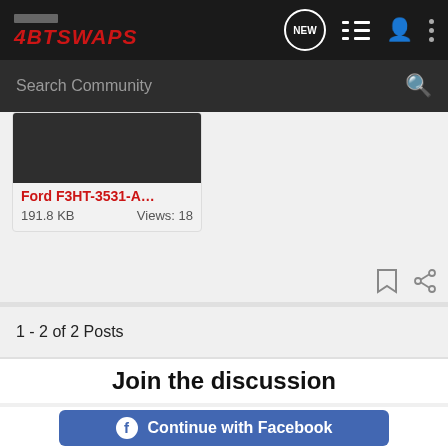4BTSWAPS
Search Community
[Figure (screenshot): Thumbnail image of Ford F3HT-3531-A file attachment, dark background]
Ford F3HT-3531-A…
191.8 KB    Views: 18
1 - 2 of 2 Posts
Join the discussion
Continue with Facebook